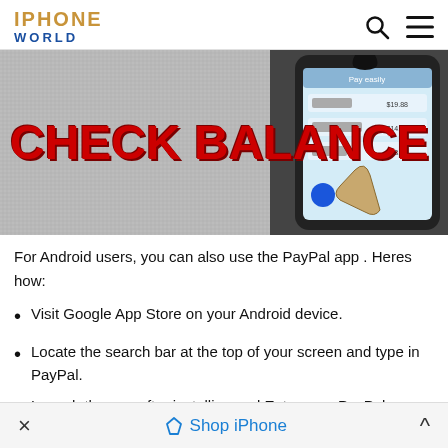IPHONE WORLD
[Figure (photo): Banner image showing 'CHECK BALANCE' text in large red letters on a grey background, with a smartphone screen showing a PayPal-like transaction list on the right side.]
For Android users, you can also use the PayPal app . Heres how:
Visit Google App Store on your Android device.
Locate the search bar at the top of your screen and type in PayPal.
Launch the app after installing and Enter your PayPal credentials.
× Shop iPhone ^